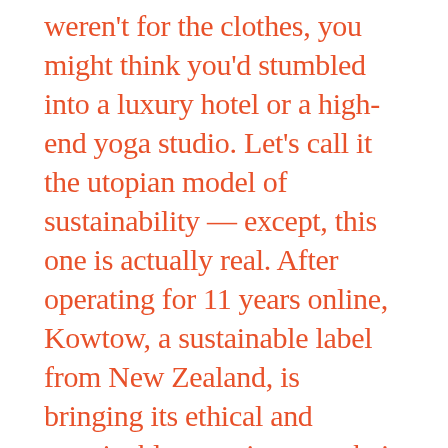weren't for the clothes, you might think you'd stumbled into a luxury hotel or a high-end yoga studio. Let's call it the utopian model of sustainability — except, this one is actually real. After operating for 11 years online, Kowtow, a sustainable label from New Zealand, is bringing its ethical and sustainable experience to their first flagship store in Wellington, New Zealand, with the dual objective of transmitting the consciousness concept of the brand and raising awareness, one client at a time. Every aspect of the interior design has been chosen